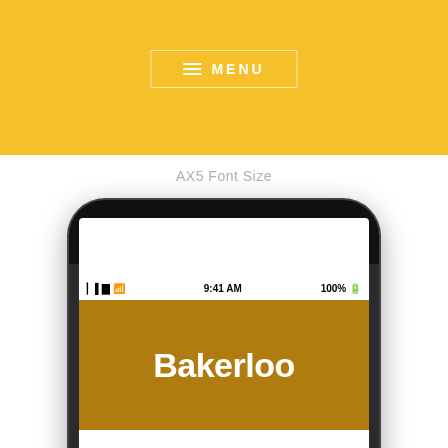[Figure (screenshot): Yellow navigation bar with MENU button]
AX5 Font Size
[Figure (screenshot): Smartphone screenshot showing Bakerloo line app with 'Special Service' notification. Status bar shows 9:41 AM and 100% battery. App header is dark orange/amber with 'Bakerloo' in white bold text. Below is a warning triangle icon next to 'Special Service' text.]